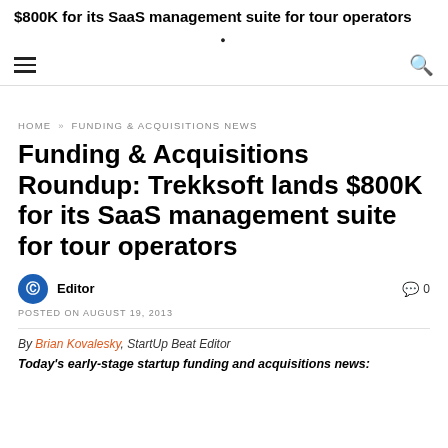$800K for its SaaS management suite for tour operators
HOME » FUNDING & ACQUISITIONS NEWS
Funding & Acquisitions Roundup: Trekksoft lands $800K for its SaaS management suite for tour operators
Editor
💬 0
POSTED ON AUGUST 19, 2013
By Brian Kovalesky, StartUp Beat Editor
Today's early-stage startup funding and acquisitions news: